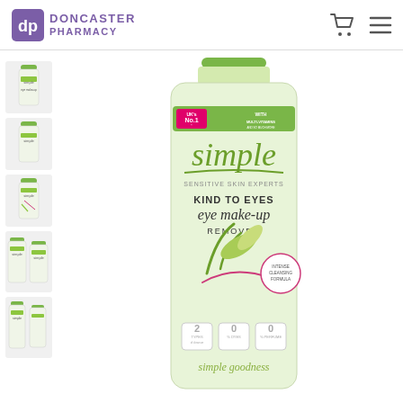[Figure (logo): Doncaster Pharmacy logo with purple shield icon and purple text reading DONCASTER PHARMACY]
[Figure (illustration): Shopping cart icon and hamburger menu icon in header navigation]
[Figure (photo): Thumbnail strip of 5 product images on the left side showing Simple Kind to Eyes Eye Make-Up Remover from various angles]
[Figure (photo): Main product image of Simple Kind to Eyes Eye Make-Up Remover bottle with green cap, showing UK No.1 badge, Simple branding, sensitive skin experts label, and simple goodness badges at the bottom]